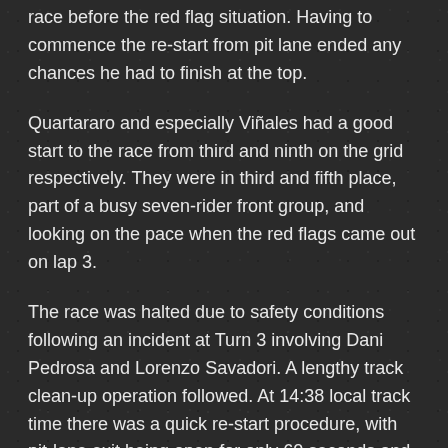race before the red flag situation. Having to commence the re-start from pit lane ended any chances he had to finish at the top.
Quartararo and especially Viñales had a good start to the race from third and ninth on the grid respectively. They were in third and fifth place, part of a busy seven-rider front group, and looking on the pace when the red flags came out on lap 3.
The race was halted due to safety conditions following an incident at Turn 3 involving Dani Pedrosa and Lorenzo Savadori. A lengthy track clean-up operation followed. At 14:38 local track time there was a quick re-start procedure, with pit-lane exit being open for only 60 seconds and the riders resuming their original starting position for a 27-lap race.